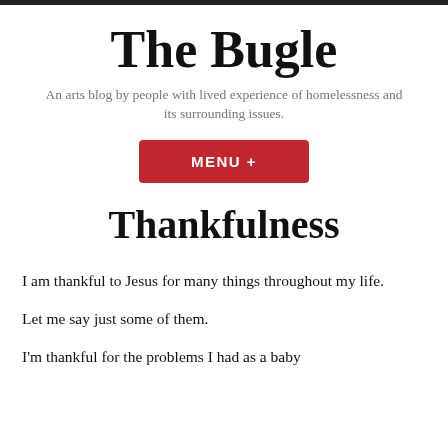The Bugle
An arts blog by people with lived experience of homelessness and its surrounding issues.
[Figure (other): Red button labeled MENU +]
Thankfulness
I am thankful to Jesus for many things throughout my life.
Let me say just some of them.
I'm thankful for the problems I had as a baby